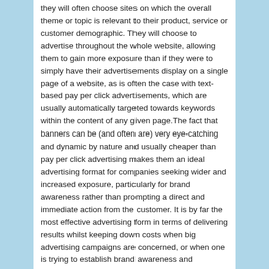they will often choose sites on which the overall theme or topic is relevant to their product, service or customer demographic. They will choose to advertise throughout the whole website, allowing them to gain more exposure than if they were to simply have their advertisements display on a single page of a website, as is often the case with text-based pay per click advertisements, which are usually automatically targeted towards keywords within the content of any given page.The fact that banners can be (and often are) very eye-catching and dynamic by nature and usually cheaper than pay per click advertising makes them an ideal advertising format for companies seeking wider and increased exposure, particularly for brand awareness rather than prompting a direct and immediate action from the customer. It is by far the most effective advertising form in terms of delivering results whilst keeping down costs when big advertising campaigns are concerned, or when one is trying to establish brand awareness and credibility over direct, immediate leads.
Posted in information, News | Tagged Advertising